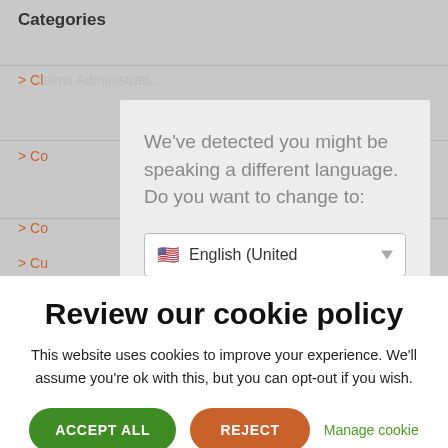Categories
> Cl...
> Co...
> Co...
> Cu...
We've detected you might be speaking a different language. Do you want to change to:
English (United
Review our cookie policy
This website uses cookies to improve your experience. We'll assume you're ok with this, but you can opt-out if you wish.
ACCEPT ALL   REJECT   Manage cookie
consent   Cookie Policy